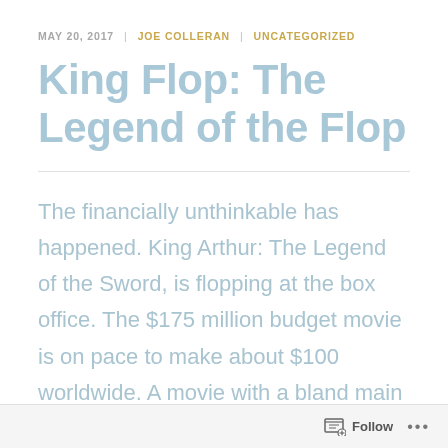MAY 20, 2017 | JOE COLLERAN | UNCATEGORIZED
King Flop: The Legend of the Flop
The financially unthinkable has happened. King Arthur: The Legend of the Sword, is flopping at the box office. The $175 million budget movie is on pace to make about $100 worldwide. A movie with a bland main character, predictable story, completely grey color scheme, released the after
Follow ...